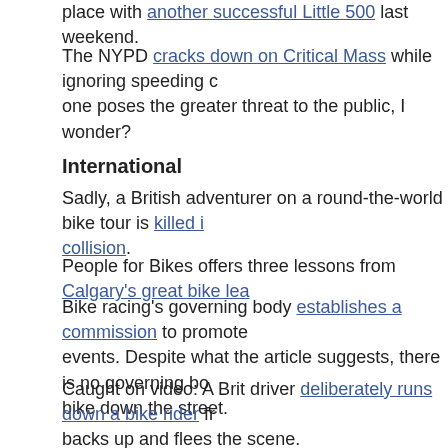place with another successful Little 500 last weekend.
The NYPD cracks down on Critical Mass while ignoring speeding c one poses the greater threat to the public, I wonder?
International
Sadly, a British adventurer on a round-the-world bike tour is killed i collision.
People for Bikes offers three lessons from Calgary's great bike lea
Bike racing's governing body establishes a commission to promote events. Despite what the article suggests, there is no governing bo bike down the street.
Caught on video: A Brit driver deliberately runs down a bike rider fr backs up and flees the scene.
Evidently, Aussie women go out of their way not to commute by bik